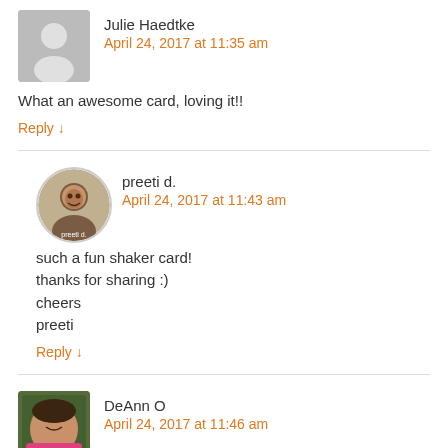[Figure (illustration): Gray placeholder avatar silhouette for Julie Haedtke]
Julie Haedtke
April 24, 2017 at 11:35 am
What an awesome card, loving it!!
Reply ↓
[Figure (photo): Circular profile photo of preeti d., woman with dark hair]
preeti d.
April 24, 2017 at 11:43 am
such a fun shaker card!
thanks for sharing :)
cheers
preeti
Reply ↓
[Figure (photo): Profile photo of DeAnn O, woman in pink shirt with glasses]
DeAnn O
April 24, 2017 at 11:46 am
Your card is crazy adorable! I LOVE VW buses! My dad had one when I was little and one of my favorite photos is of my dad and me with the VW bus. :)